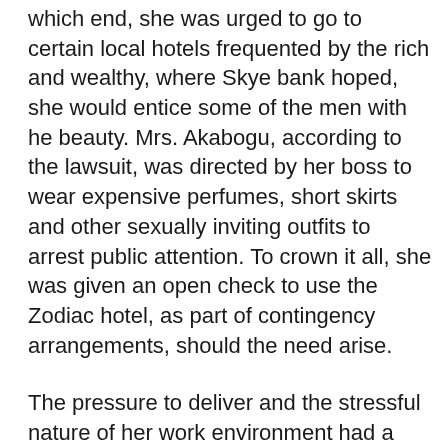which end, she was urged to go to certain local hotels frequented by the rich and wealthy, where Skye bank hoped, she would entice some of the men with he beauty. Mrs. Akabogu, according to the lawsuit, was directed by her boss to wear expensive perfumes, short skirts and other sexually inviting outfits to arrest public attention. To crown it all, she was given an open check to use the Zodiac hotel, as part of contingency arrangements, should the need arise.
The pressure to deliver and the stressful nature of her work environment had a huge impact on her health, which began to degenerate, until she suffered a nervous break down and passed out on two occasions and was rushed to the hospital. But Skye bank officials were heartless and refused to acknowledge that her blackouts were the result of